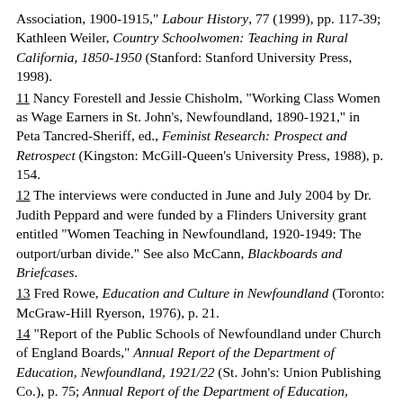Association, 1900-1915," Labour History, 77 (1999), pp. 117-39; Kathleen Weiler, Country Schoolwomen: Teaching in Rural California, 1850-1950 (Stanford: Stanford University Press, 1998).
11 Nancy Forestell and Jessie Chisholm, "Working Class Women as Wage Earners in St. John's, Newfoundland, 1890-1921," in Peta Tancred-Sheriff, ed., Feminist Research: Prospect and Retrospect (Kingston: McGill-Queen's University Press, 1988), p. 154.
12 The interviews were conducted in June and July 2004 by Dr. Judith Peppard and were funded by a Flinders University grant entitled "Women Teaching in Newfoundland, 1920-1949: The outport/urban divide." See also McCann, Blackboards and Briefcases.
13 Fred Rowe, Education and Culture in Newfoundland (Toronto: McGraw-Hill Ryerson, 1976), p. 21.
14 "Report of the Public Schools of Newfoundland under Church of England Boards," Annual Report of the Department of Education, Newfoundland, 1921/22 (St. John's: Union Publishing Co.), p. 75; Annual Report of the Department of Education, Newfoundland, 1919/20; And new Internation... 33